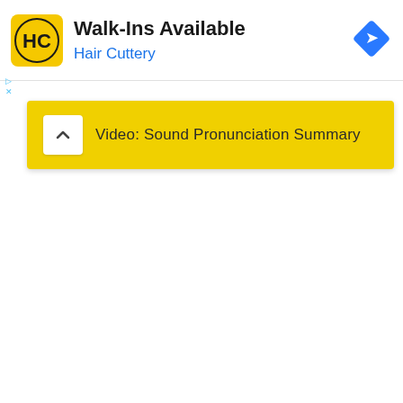[Figure (screenshot): Advertisement banner for Hair Cuttery with logo, 'Walk-Ins Available' title, and blue direction icon. Below it is a yellow bar with a chevron button and text 'Video: Sound Pronunciation Summary'.]